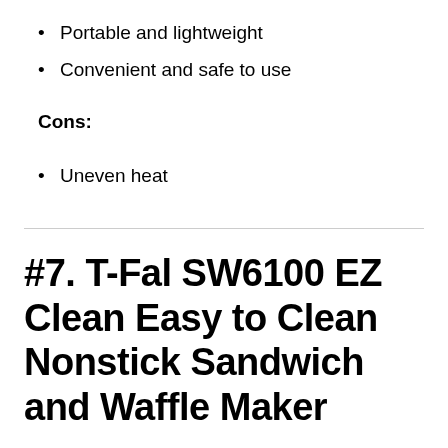Portable and lightweight
Convenient and safe to use
Cons:
Uneven heat
#7. T-Fal SW6100 EZ Clean Easy to Clean Nonstick Sandwich and Waffle Maker